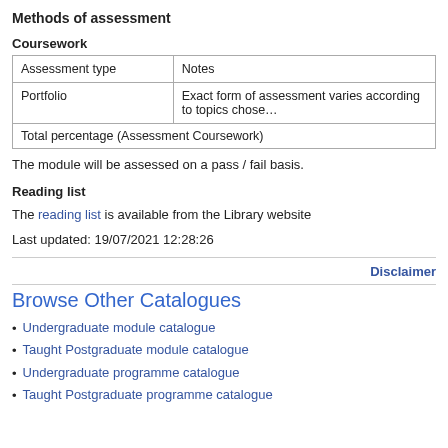Methods of assessment
Coursework
| Assessment type | Notes |
| --- | --- |
| Portfolio | Exact form of assessment varies according to topics chose… |
| Total percentage (Assessment Coursework) |  |
The module will be assessed on a pass / fail basis.
Reading list
The reading list is available from the Library website
Last updated: 19/07/2021 12:28:26
Disclaimer
Browse Other Catalogues
Undergraduate module catalogue
Taught Postgraduate module catalogue
Undergraduate programme catalogue
Taught Postgraduate programme catalogue